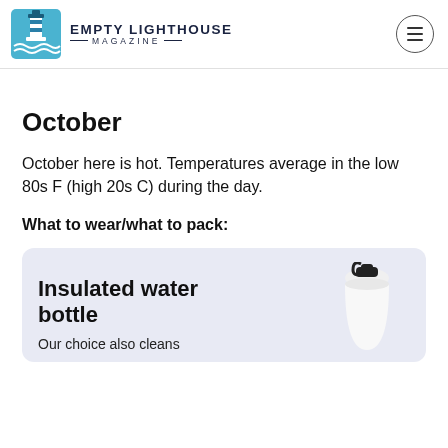EMPTY LIGHTHOUSE MAGAZINE
October
October here is hot. Temperatures average in the low 80s F (high 20s C) during the day.
What to wear/what to pack:
[Figure (illustration): Product card with light purple background showing an insulated water bottle with text 'Insulated water bottle' and partial text 'Our choice also cleans']